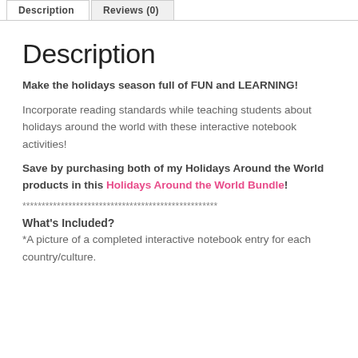Description | Reviews (0)
Description
Make the holidays season full of FUN and LEARNING!
Incorporate reading standards while teaching students about holidays around the world with these interactive notebook activities!
Save by purchasing both of my Holidays Around the World products in this Holidays Around the World Bundle!
***************************************************
What's Included?
*A picture of a completed interactive notebook entry for each country/culture.